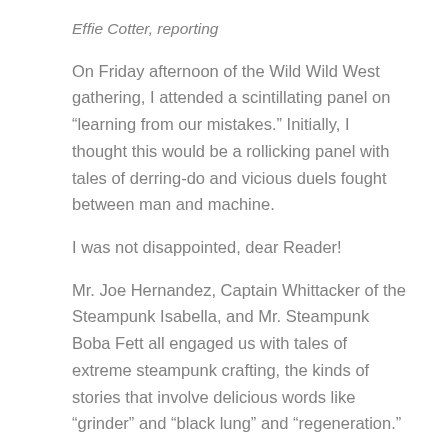Effie Cotter, reporting
On Friday afternoon of the Wild Wild West gathering, I attended a scintillating panel on “learning from our mistakes.” Initially, I thought this would be a rollicking panel with tales of derring-do and vicious duels fought between man and machine.
I was not disappointed, dear Reader!
Mr. Joe Hernandez, Captain Whittacker of the Steampunk Isabella, and Mr. Steampunk Boba Fett all engaged us with tales of extreme steampunk crafting, the kinds of stories that involve delicious words like “grinder” and “black lung” and “regeneration.”